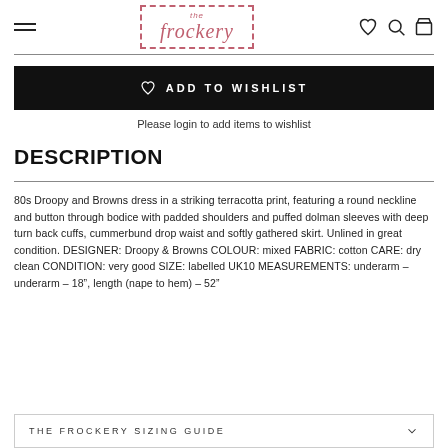the frockery
♡  ADD TO WISHLIST
Please login to add items to wishlist
DESCRIPTION
80s Droopy and Browns dress in a striking terracotta print, featuring a round neckline and button through bodice with padded shoulders and puffed dolman sleeves with deep turn back cuffs, cummerbund drop waist and softly gathered skirt. Unlined in great condition. DESIGNER: Droopy & Browns COLOUR: mixed FABRIC: cotton CARE: dry clean CONDITION: very good SIZE: labelled UK10 MEASUREMENTS: underarm – underarm – 18", length (nape to hem) – 52"
THE FROCKERY SIZING GUIDE